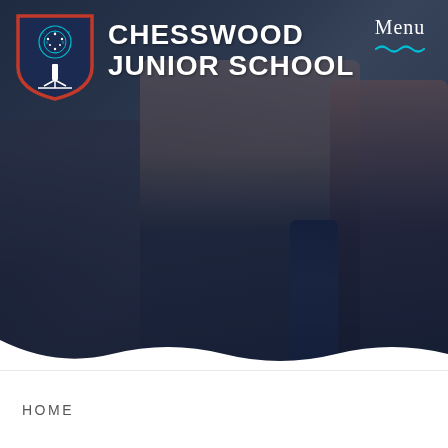[Figure (photo): School children in navy uniform sitting at a classroom table, focused on writing. A dark water bottle is visible in the foreground. The image has a dark navy overlay.]
CHESSWOOD JUNIOR SCHOOL
Menu
HOME